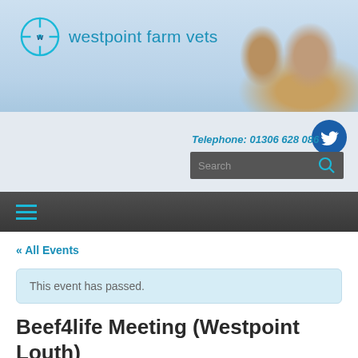[Figure (logo): Westpoint Farm Vets logo with circular crosshair icon and teal text]
[Figure (photo): Cow heads in blue sky background, header banner image]
[Figure (logo): Twitter bird icon, dark blue circle]
Telephone: 01306 628 086
Search
« All Events
This event has passed.
Beef4life Meeting (Westpoint Louth)